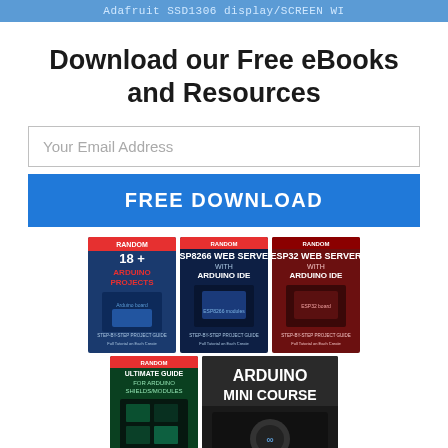Adafruit SSD1306 display/SCREEN WI
Download our Free eBooks and Resources
Your Email Address
FREE DOWNLOAD
[Figure (illustration): Five ebook/course covers: '18+ Arduino Projects', 'ESP8266 Web Server with Arduino IDE', 'ESP32 Web Server with Arduino IDE', 'Ultimate Guide for Arduino Shields/Modules', and 'Arduino Mini Course']